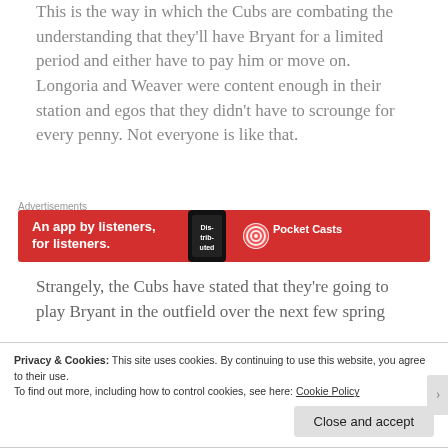This is the way in which the Cubs are combating the understanding that they'll have Bryant for a limited period and either have to pay him or move on. Longoria and Weaver were content enough in their station and egos that they didn't have to scrounge for every penny. Not everyone is like that.
Advertisements
[Figure (infographic): Red advertisement banner for Pocket Casts app reading 'An app by listeners, for listeners.' with a phone mockup showing 'Dis-trib-uted' and the Pocket Casts logo]
Strangely, the Cubs have stated that they're going to play Bryant in the outfield over the next few spring
Privacy & Cookies: This site uses cookies. By continuing to use this website, you agree to their use. To find out more, including how to control cookies, see here: Cookie Policy
Close and accept